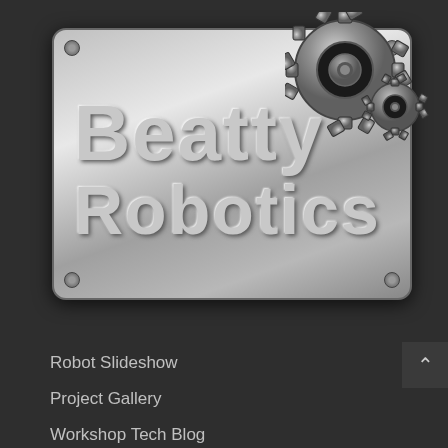[Figure (logo): Beatty Robotics logo on a brushed metal plate with gear icons in the top-right corner]
Robot Slideshow
Project Gallery
Workshop Tech Blog
Chronological
Non-Robot Projects
Tools and Workshop
News & Media